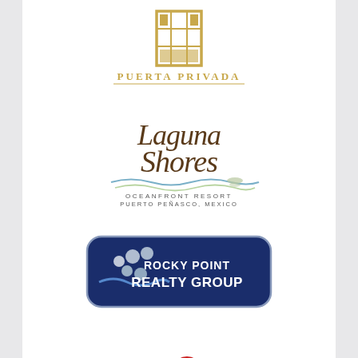[Figure (logo): Puerta Privada logo: a gold square grid/door icon above the text PUERTA PRIVADA in gold serif capitals with a line underneath]
[Figure (logo): Laguna Shores Oceanfront Resort logo: cursive brown script text 'Laguna Shores' with wavy water lines and a dragonfly, below in small caps 'OCEANFRONT RESORT / PUERTO PEÑASCO, MEXICO']
[Figure (logo): Rocky Point Realty Group logo: dark navy rounded rectangle badge with silver/white stylized wave and people icons on left, bold white text 'ROCKY POINT REALTY GROUP']
[Figure (logo): Partially visible logo at bottom center with red and green curved element, cut off by page edge]